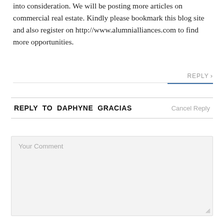into consideration. We will be posting more articles on commercial real estate. Kindly please bookmark this blog site and also register on http://www.alumnialliances.com to find more opportunities.
REPLY >
REPLY TO DAPHYNE GRACIAS   Cancel Reply
Your Comment